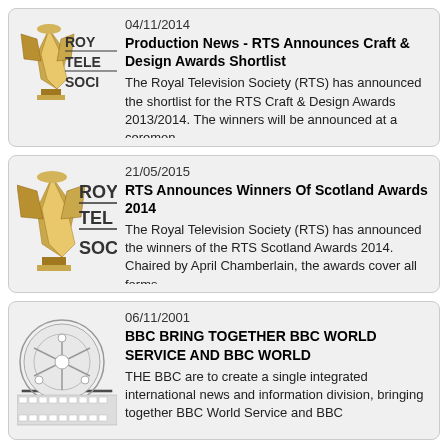[Figure (logo): Royal Television Society logo - gold trophy figure with ROY TELE SOCI text]
04/11/2014
Production News - RTS Announces Craft & Design Awards Shortlist
The Royal Television Society (RTS) has announced the shortlist for the RTS Craft & Design Awards 2013/2014. The winners will be announced at a ceremon
[Figure (logo): Royal Television Society logo - gold trophy figure with ROY TEL SOC text, larger version]
21/05/2015
RTS Announces Winners Of Scotland Awards 2014
The Royal Television Society (RTS) has announced the winners of the RTS Scotland Awards 2014. Chaired by April Chamberlain, the awards cover all forms
[Figure (illustration): Film reel / television illustration - black and white sketch of a film reel]
06/11/2001
BBC BRING TOGETHER BBC WORLD SERVICE AND BBC WORLD
THE BBC are to create a single integrated international news and information division, bringing together BBC World Service and BBC